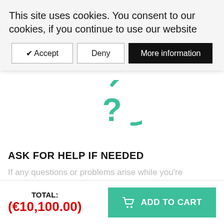This site uses cookies. You consent to our cookies, if you continue to use our website
✔ Accept | Deny | More information
closely during construction. GardenHouse 24 cannot accept liability for any damage incurred through incorrect installation and does not take responsibility for injuries sustained in doing so.
[Figure (illustration): Teal question mark inside a partial circle icon]
ASK FOR HELP IF NEEDED
If any questions or problems arise while you're assembling your product, please don't hesitate to
TOTAL: (€10,100.00)
ADD TO CART